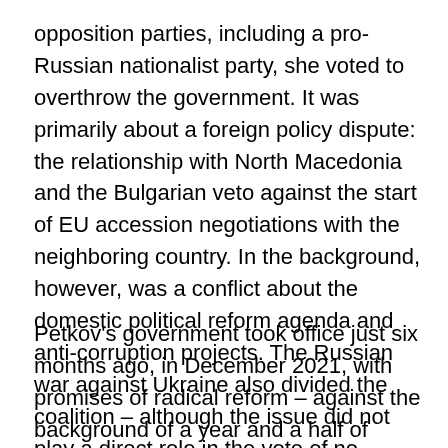opposition parties, including a pro-Russian nationalist party, she voted to overthrow the government. It was primarily about a foreign policy dispute: the relationship with North Macedonia and the Bulgarian veto against the start of EU accession negotiations with the neighboring country. In the background, however, was a conflict about the domestic political reform agenda and anti-corruption projects. The Russian war against Ukraine also divided the coalition – although the issue did not play a direct role in the vote of no confidence. For example, the co-governing pro-Russian socialists spoke out against arms deliveries to the Ukraine.
Petkov's government took office just six months ago, in December 2021, with promises of radical reform – against the background of a year and a half of severe domestic political crisis. Now the downfall for Bulgaria and at the same time for the European Union comes at one of the worst possible times